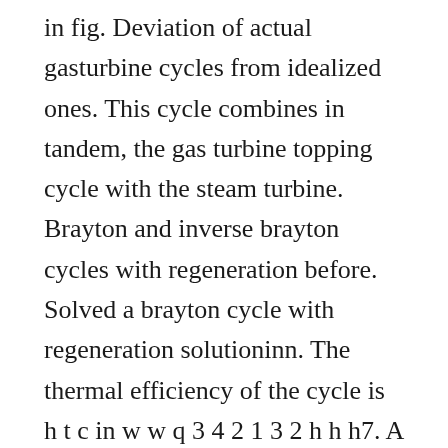in fig. Deviation of actual gasturbine cycles from idealized ones. This cycle combines in tandem, the gas turbine topping cycle with the steam turbine. Brayton and inverse brayton cycles with regeneration before. Solved a brayton cycle with regeneration solutioninn. The thermal efficiency of the cycle is h t c in w w q 3 4 2 1 3 2 h h h7. A significant difference between both is that the brayton device features an open loop air cycle, whereas the rankine device incorporates a closed loop allowing for different condensable